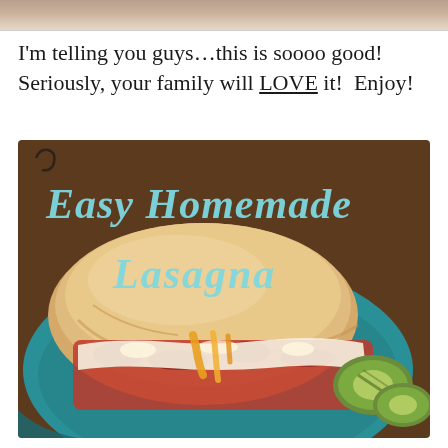[Figure (photo): Partial top strip showing edge of another food photo above]
I'm telling you guys…this is soooo good! Seriously, your family will LOVE it!  Enjoy!
[Figure (photo): Photo of Easy Homemade Lasagna served on a teal plate with melted cheese, meat sauce, bread roll, and grilled zucchini. Text overlay reads 'Easy Homemade Lasagna' in light blue serif font.]